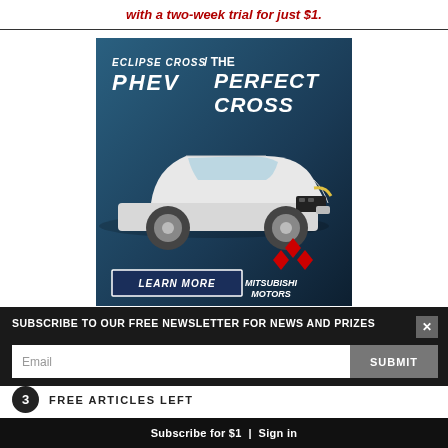with a two-week trial for just $1.
[Figure (advertisement): Mitsubishi Eclipse Cross PHEV advertisement with white SUV on blue background. Text: 'ECLIPSE CROSS / THE PERFECT CROSS PHEV'. Includes LEARN MORE button and Mitsubishi Motors logo.]
SUBSCRIBE TO OUR FREE NEWSLETTER FOR NEWS AND PRIZES
Email
SUBMIT
3 FREE ARTICLES LEFT
Subscribe for $1 | Sign in